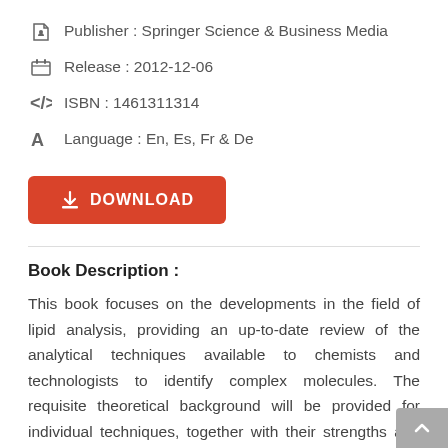Publisher : Springer Science & Business Media
Release : 2012-12-06
ISBN : 1461311314
Language : En, Es, Fr & De
DOWNLOAD
Book Description :
This book focuses on the developments in the field of lipid analysis, providing an up-to-date review of the analytical techniques available to chemists and technologists to identify complex molecules. The requisite theoretical background will be provided for individual techniques, together with their strengths and weaknesses, and a guide to the enormous range of commercial applications. It will be an invaluable reference source to all sectors of the oils and fats